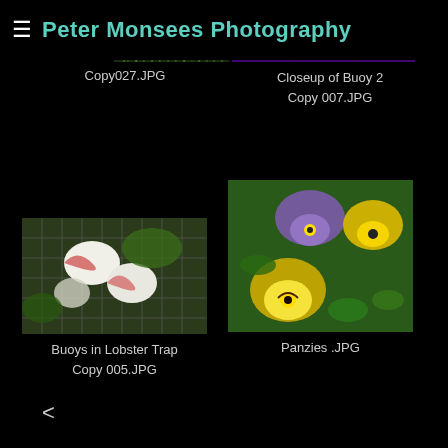Peter Monsees Photography
[Figure (photo): Grassy plant close-up (Copy027.JPG)]
[Figure (photo): Closeup of colorful buoy with red and blue background (Closeup of Buoy 2 Copy 007.JPG)]
Copy027.JPG
Closeup of Buoy 2 Copy 007.JPG
[Figure (photo): Buoys in lobster trap with wire mesh (Buoys in Lobster Trap Copy 005.JPG)]
[Figure (photo): Yellow and purple pansy flowers close-up (Panzies .JPG)]
Buoys in Lobster Trap Copy 005.JPG
Panzies .JPG